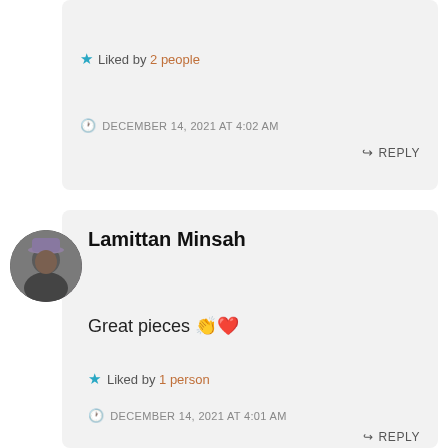Liked by 2 people
DECEMBER 14, 2021 AT 4:02 AM
REPLY
[Figure (photo): Profile photo of Lamittan Minsah, a person wearing a hat]
Lamittan Minsah
Great pieces 👏❤️
Liked by 1 person
DECEMBER 14, 2021 AT 4:01 AM
REPLY